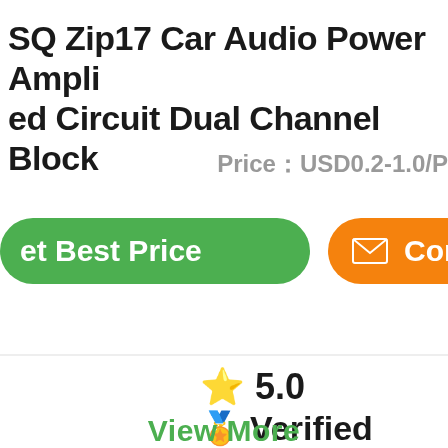SQ Zip17 Car Audio Power Amplifier Integrated Circuit Dual Channel Block
Price：USD0.2-1.0/P
Get Best Price
Contact
⭐ 5.0
👑 Verified Supplier
View More